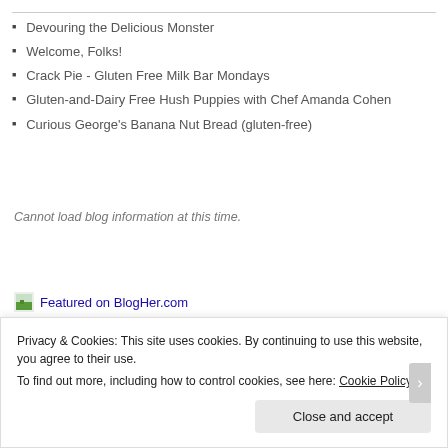Devouring the Delicious Monster
Welcome, Folks!
Crack Pie - Gluten Free Milk Bar Mondays
Gluten-and-Dairy Free Hush Puppies with Chef Amanda Cohen
Curious George's Banana Nut Bread (gluten-free)
Cannot load blog information at this time.
[Figure (logo): Featured on BlogHer.com badge/logo with small green image icon]
Advertisements
Privacy & Cookies: This site uses cookies. By continuing to use this website, you agree to their use.
To find out more, including how to control cookies, see here: Cookie Policy
Close and accept